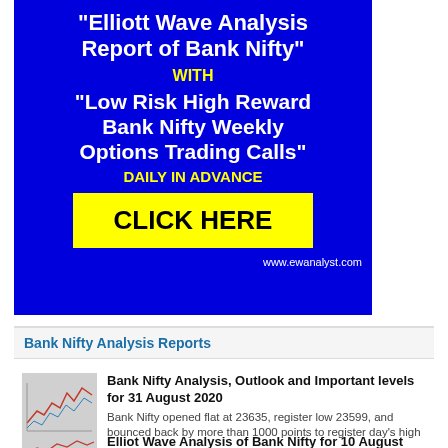[Figure (infographic): Blue advertisement banner for Elliott Wave Analysis Report of Bank Nifty with Low Risk High Reward Bank Nifty Weekly Options Trading Calls, featuring a yellow CLICK HERE button and www.ewanalyst.com URL]
Bank Nifty Analysis Reports
[Figure (screenshot): Thumbnail chart image for Bank Nifty analysis article]
Bank Nifty Analysis, Outlook and Important levels for 31 August 2020
Bank Nifty opened flat at 23635, register low 23599, and bounced back by more than 1000 points to register day's high
[Figure (screenshot): Thumbnail chart image for Elliot Wave Analysis article]
Elliot Wave Analysis of Bank Nifty for 10 August 2020